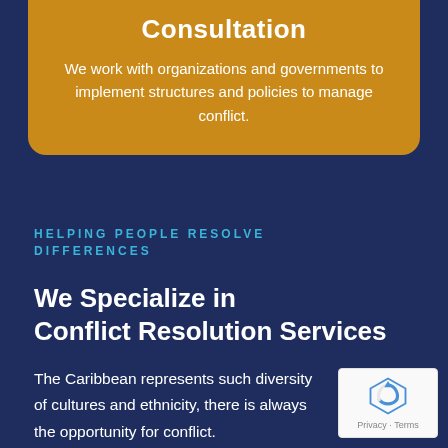Consultation
We work with organizations and governments to implement structures and policies to manage conflict.
HELPING PEOPLE RESOLVE DIFFERENCES
We Specialize in Conflict Resolution Services
The Caribbean represents such diversity of cultures and ethnicity, there is always the opportunity for conflict.
[Figure (logo): Google reCAPTCHA badge with privacy and terms link]